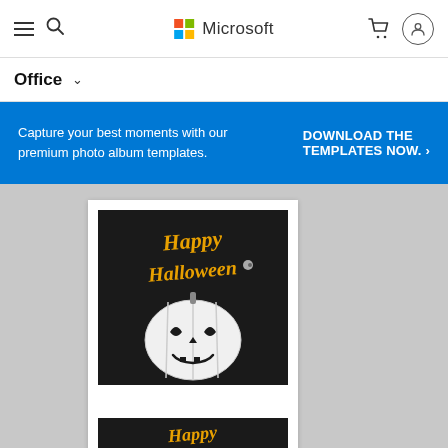[Figure (screenshot): Microsoft website navigation bar with hamburger menu, search icon, Microsoft logo with four-color squares and Microsoft text, shopping cart icon, and user profile circle icon]
Office ∨
Capture your best moments with our premium photo album templates.
DOWNLOAD THE TEMPLATES NOW. >
[Figure (illustration): Microsoft Office template preview showing a Happy Halloween card with black background, orange gothic text reading 'Happy Halloween' and a jack-o-lantern pumpkin in black and white style. A second partial card preview visible below.]